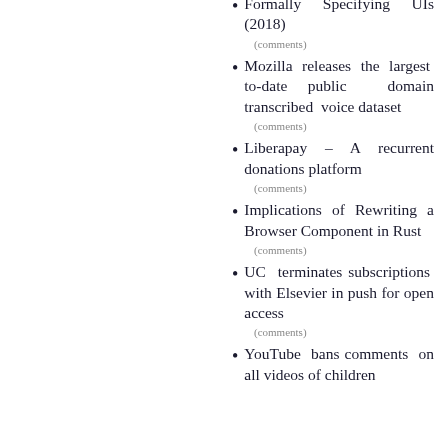Formally Specifying UIs (2018)
(comments)
Mozilla releases the largest to-date public domain transcribed voice dataset
(comments)
Liberapay – A recurrent donations platform
(comments)
Implications of Rewriting a Browser Component in Rust
(comments)
UC terminates subscriptions with Elsevier in push for open access
(comments)
YouTube bans comments on all videos of children